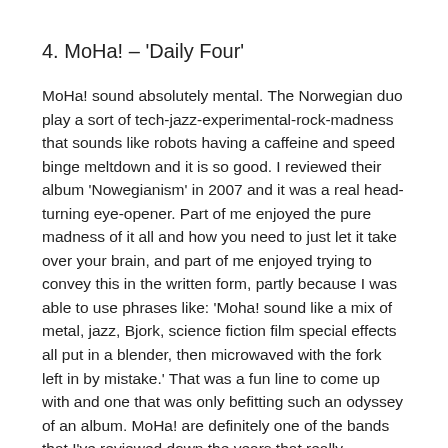4. MoHa! – 'Daily Four'
MoHa! sound absolutely mental. The Norwegian duo play a sort of tech-jazz-experimental-rock-madness that sounds like robots having a caffeine and speed binge meltdown and it is so good. I reviewed their album 'Nowegianism' in 2007 and it was a real head-turning eye-opener. Part of me enjoyed the pure madness of it all and how you need to just let it take over your brain, and part of me enjoyed trying to convey this in the written form, partly because I was able to use phrases like: 'Moha! sound like a mix of metal, jazz, Bjork, science fiction film special effects all put in a blender, then microwaved with the fork left in by mistake.' That was a fun line to come up with and one that was only befitting such an odyssey of an album. MoHa! are definitely one of the bands that I've reviewed down the years that really